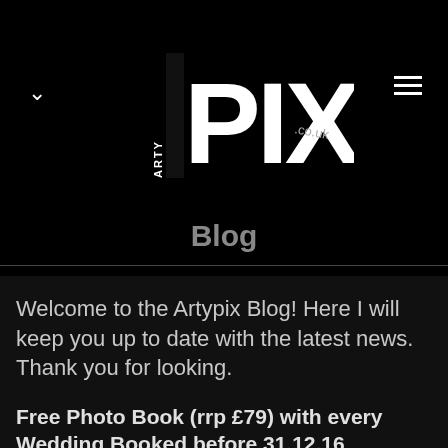[Figure (logo): ArtY PIX .co.uk logo in white on black background, with chevron and hamburger menu icons]
Blog
Welcome to the Artypix Blog! Here I will keep you up to date with the latest news. Thank you for looking.
Free Photo Book (rrp £79) with every Wedding Booked before 31.12.16
October 28, 2016
Leave a Comment
Read the Full Post »